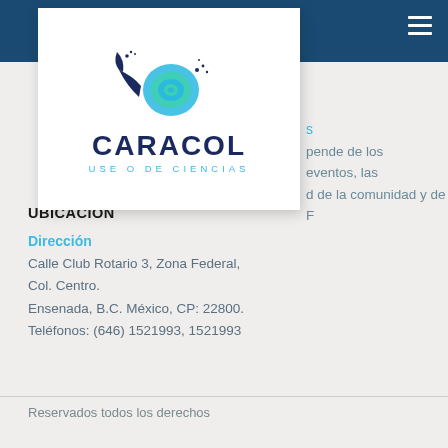[Figure (logo): Caracol Museo de Ciencias logo with stylized snail/fish graphic in blue and green, bold dark blue text CARACOL, subtitle USE O DE CIENCIAS in light blue]
pende de los eventos, las
vidades de la comunidad y de
F
UBICACIÓN
Dirección
Calle Club Rotario 3, Zona Federal,
Col. Centro.
Ensenada, B.C. México, CP: 22800.
Teléfonos: (646) 1521993, 1521993
Reservados todos los derechos